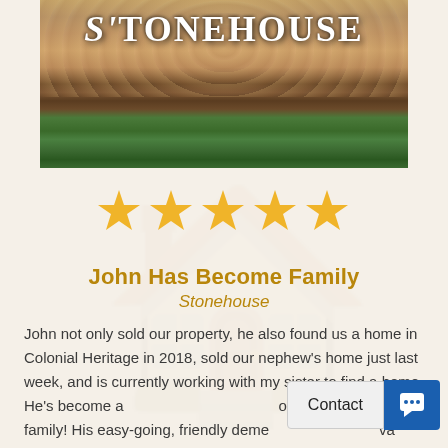[Figure (photo): Photo of a stone wall entrance with 'StoneHouse' logo text, brown/red mulched garden bed, and green grass lawn below]
[Figure (infographic): Five gold/yellow star rating icons]
John Has Become Family
Stonehouse
John not only sold our property, he also found us a home in Colonial Heritage in 2018, sold our nephew's home just last week, and is currently working with my sister to find a home. He's become a part of our family! His easy-going, friendly deme... always va... put us at ease. His knowledge of the area is amazing!